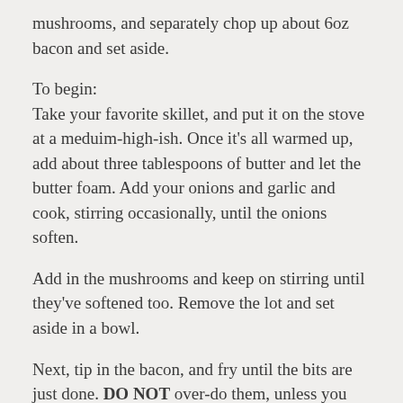mushrooms, and separately chop up about 6oz bacon and set aside.
To begin:
Take your favorite skillet, and put it on the stove at a meduim-high-ish.  Once it’s all warmed up, add about three tablespoons of butter and let the butter foam.  Add your onions and garlic and cook, stirring occasionally, until the onions soften.
Add in the mushrooms and keep on stirring until they’ve softened too.  Remove the lot and set aside in a bowl.
Next, tip in the bacon, and fry until the bits are just done.  DO NOT over-do them, unless you want a crunchy omelet.  Ick.  Were it strips of bacon, they’d just start to curl, but it should be apparent to the eye.